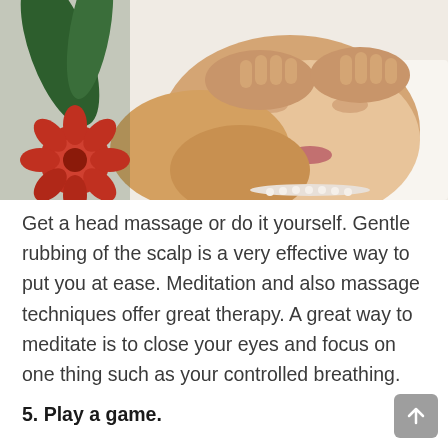[Figure (photo): A woman receiving a head massage at a spa, lying down with eyes closed, hands pressing on her forehead. Red flowers and green leaves visible in the background.]
Get a head massage or do it yourself. Gentle rubbing of the scalp is a very effective way to put you at ease. Meditation and also massage techniques offer great therapy. A great way to meditate is to close your eyes and focus on one thing such as your controlled breathing.
5. Play a game.